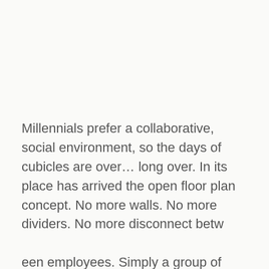Millennials prefer a collaborative, social environment, so the days of cubicles are over… long over. In its place has arrived the open floor plan concept. No more walls. No more dividers. No more disconnect betw een employees. Simply a group of desks grouped together. An open floor plan encourages communication, building